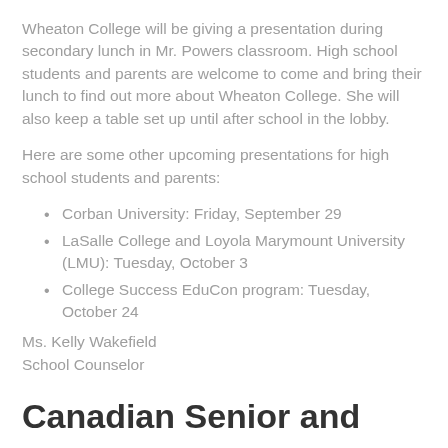Wheaton College will be giving a presentation during secondary lunch in Mr. Powers classroom. High school students and parents are welcome to come and bring their lunch to find out more about Wheaton College. She will also keep a table set up until after school in the lobby.
Here are some other upcoming presentations for high school students and parents:
Corban University: Friday, September 29
LaSalle College and Loyola Marymount University (LMU): Tuesday, October 3
College Success EduCon program: Tuesday, October 24
Ms. Kelly Wakefield
School Counselor
Canadian Senior and